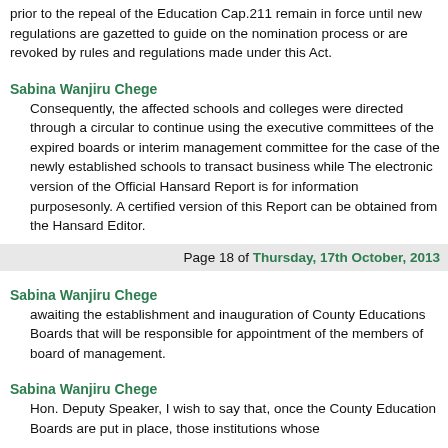prior to the repeal of the Education Cap.211 remain in force until new regulations are gazetted to guide on the nomination process or are revoked by rules and regulations made under this Act.
Sabina Wanjiru Chege
Consequently, the affected schools and colleges were directed through a circular to continue using the executive committees of the expired boards or interim management committee for the case of the newly established schools to transact business while The electronic version of the Official Hansard Report is for information purposesonly. A certified version of this Report can be obtained from the Hansard Editor.
Page 18 of Thursday, 17th October, 2013
Sabina Wanjiru Chege
awaiting the establishment and inauguration of County Educations Boards that will be responsible for appointment of the members of board of management.
Sabina Wanjiru Chege
Hon. Deputy Speaker, I wish to say that, once the County Education Boards are put in place, those institutions whose